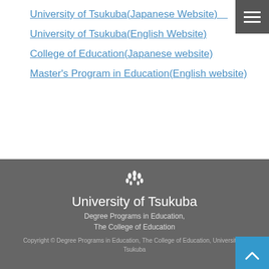University of Tsukuba(Japanese Website)
University of Tsukuba(English Website)
College of Education(Japanese website)
Master's Program in Education(English website)
University of Tsukuba
Degree Programs in Education,
The College of Education
Copyright © Degree Programs in Education, The College of Education, University of Tsukuba